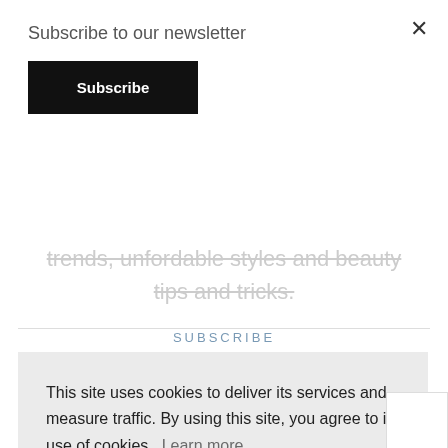Subscribe to our newsletter
Subscribe
trends, unfordable styles and beauty tips and tricks.
SUBSCRIBE
This site uses cookies to deliver its services and measure traffic. By using this site, you agree to its use of cookies. Learn more
Got it!
SIGN UP